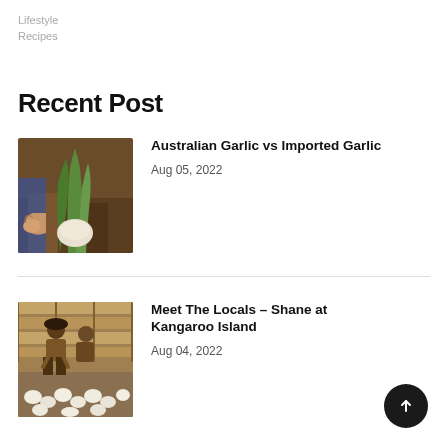Lifestyle
Recipes
Recent Post
[Figure (photo): Hand pulling garlic from soil, green stalks visible]
Australian Garlic vs Imported Garlic
Aug 05, 2022
[Figure (photo): Person sorting white garlic bulbs in wooden crates]
Meet The Locals – Shane at Kangaroo Island
Aug 04, 2022